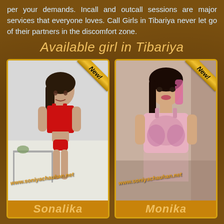per your demands. Incall and outcall sessions are major services that everyone loves. Call Girls in Tibariya never let go of their partners in the discomfort zone.
Available girl in Tibariya
[Figure (photo): Photo of a young woman in red swimwear with 'New!' badge and watermark www.soniyachauhan.net, labeled Sonalika]
Sonalika
[Figure (photo): Photo of a young woman in pink lace top with 'New!' badge and watermark www.soniyachauhan.net, labeled Monika]
Monika